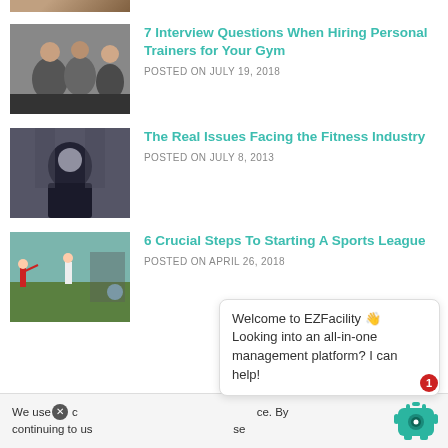[Figure (photo): Partial thumbnail image at top of page (cropped)]
7 Interview Questions When Hiring Personal Trainers for Your Gym
POSTED ON JULY 19, 2018
[Figure (photo): Photo of person in hoodie with arms crossed against a chalkboard background]
The Real Issues Facing the Fitness Industry
POSTED ON JULY 8, 2013
[Figure (photo): Collage of baseball/sports league images]
6 Crucial Steps To Starting A Sports League
POSTED ON APRIL 26, 2018
We use cookies to enhance your experience. By continuing to use this site, you agree to our use of cookies.
Welcome to EZFacility 👋 Looking into an all-in-one management platform? I can help!